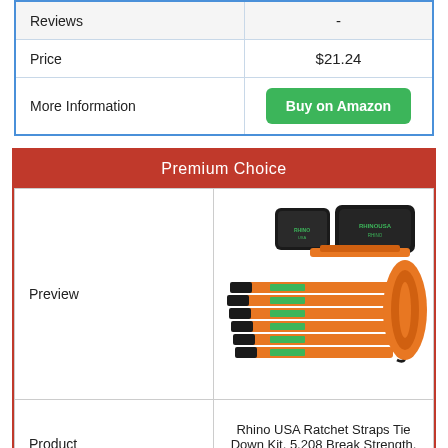|  |  |
| --- | --- |
| Reviews | - |
| Price | $21.24 |
| More Information | Buy on Amazon |
Premium Choice
|  |  |
| --- | --- |
| Preview | [product image: Rhino USA ratchet straps kit] |
| Product | Rhino USA Ratchet Straps Tie Down Kit, 5,208 Break Strength, Includes (4) Heavy |